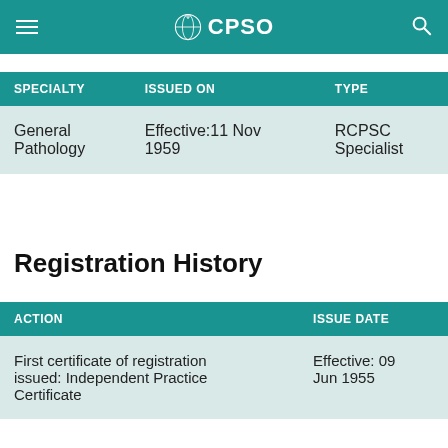CPSO
| SPECIALTY | ISSUED ON | TYPE |
| --- | --- | --- |
| General Pathology | Effective: 11 Nov 1959 | RCPSC Specialist |
Registration History
| ACTION | ISSUE DATE |
| --- | --- |
| First certificate of registration issued: Independent Practice Certificate | Effective: 09 Jun 1955 |